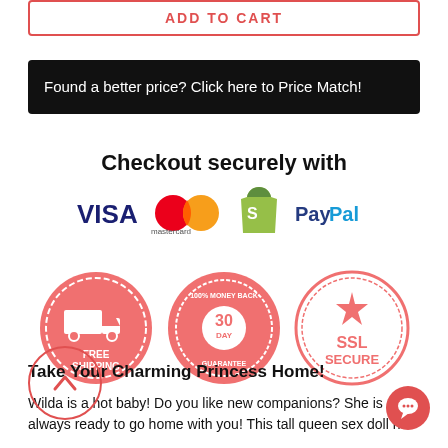ADD TO CART
Found a better price? Click here to Price Match!
Checkout securely with
[Figure (logo): Payment icons: VISA, Mastercard, Shopify, PayPal]
[Figure (infographic): Three trust badges: Free Shipping, 100% Money Back 30 Day Guarantee, SSL Secure]
Take Your Charming Princess Home!
Wilda is a hot baby! Do you like new companions? She is always ready to go home with you! This tall queen sex doll ha